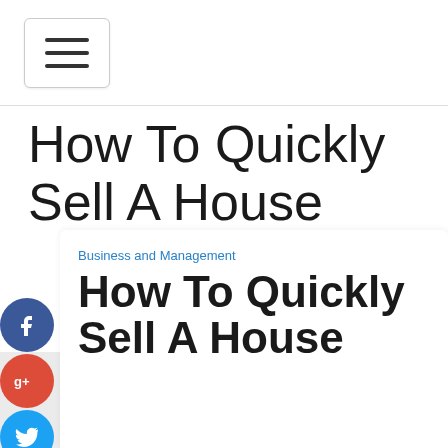[Figure (screenshot): Hamburger menu button icon with three horizontal lines, rounded rectangle border]
How To Quickly Sell A House
[Figure (infographic): Social sharing icons: Facebook (blue circle with 'f'), Google+ (red circle with 'g+'), Twitter (blue circle with bird), Plus/Add (dark blue circle with '+')]
Business and Management
How To Quickly Sell A House